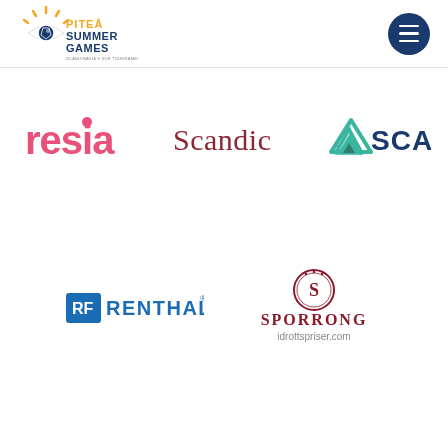[Figure (logo): Piteå Summer Games logo – soccer ball with sun rays and stylized eye, with text PITEÅ SUMMER GAMES and tagline]
[Figure (logo): Hamburger menu button – dark navy circle with three white horizontal lines]
[Figure (logo): resia sponsor logo – pink rounded lowercase letters]
[Figure (logo): Scandic sponsor logo – dark red-brown serif text]
[Figure (logo): SCA sponsor logo – teal/green triangular mountain-shape icon with SCA text]
[Figure (logo): Renthall sponsor logo – blue square icon with RF letters and RENTHALL text]
[Figure (logo): Sporrong idrottspriser.com sponsor logo – circular emblem with S and SPORRONG text and idrottspriser.com subtitle]